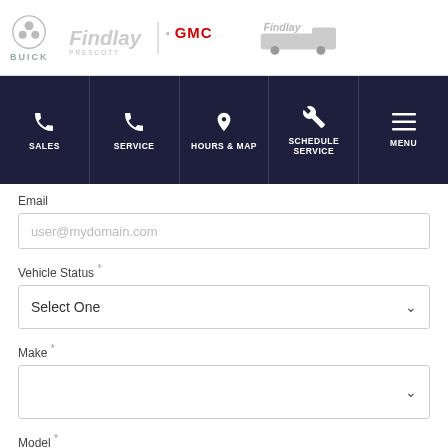Buick | Findlay Prescott GMC | Findlay Truck Center
[Figure (screenshot): Navigation bar with icons for SALES, SERVICE, HOURS & MAP, SCHEDULE SERVICE, and MENU on dark navy background]
Email
user@mydomain.com
Vehicle Status
Select One
Make
Model